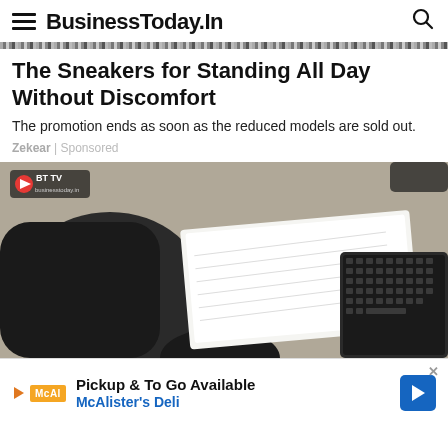BusinessToday.In
The Sneakers for Standing All Day Without Discomfort
The promotion ends as soon as the reduced models are sold out.
Zekear | Sponsored
[Figure (photo): Overhead view of a person writing in a notebook with a pen, with a laptop keyboard visible to the right, seated on a textured carpet/floor. BT TV badge overlay in top-left corner.]
Pickup & To Go Available
McAlister's Deli